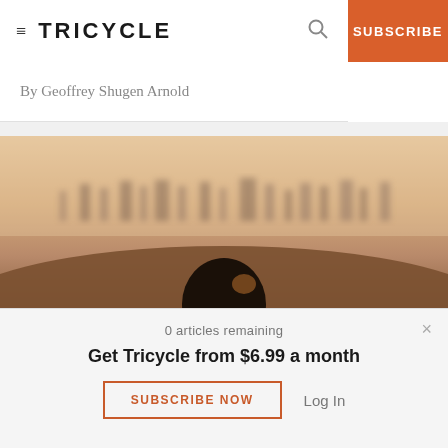≡ TRICYCLE   🔍   SUBSCRIBE
By Geoffrey Shugen Arnold
[Figure (photo): A person viewed from behind, silhouetted against a hazy cityscape at dusk with warm golden-brown tones and foggy skyline in the background.]
0 articles remaining
Get Tricycle from $6.99 a month
SUBSCRIBE NOW   Log In